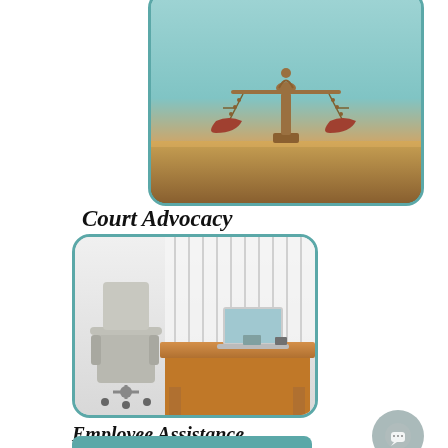[Figure (photo): A bronze balance scale (scales of justice) on a wooden surface against a teal/turquoise background, partially cropped at top, shown in a rounded-corner frame with teal border]
Court Advocacy
[Figure (photo): An office workspace with a rolling chair, a wooden desk, a laptop open on the desk, and white vertical blinds in the background, shown in a rounded-corner frame with teal border]
Employee Assistance Program